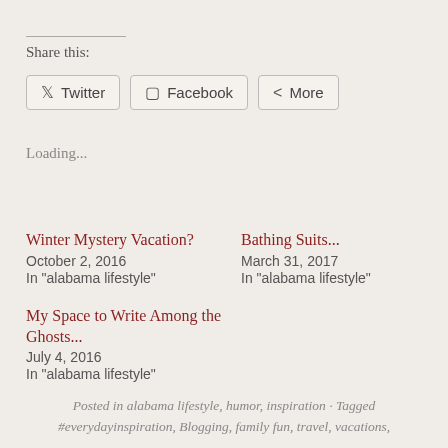Share this:
Twitter  Facebook  More
Loading...
Winter Mystery Vacation?
October 2, 2016
In "alabama lifestyle"
Bathing Suits...
March 31, 2017
In "alabama lifestyle"
My Space to Write Among the Ghosts...
July 4, 2016
In "alabama lifestyle"
Posted in alabama lifestyle, humor, inspiration · Tagged #everydayinspiration, Blogging, family fun, travel, vacations,